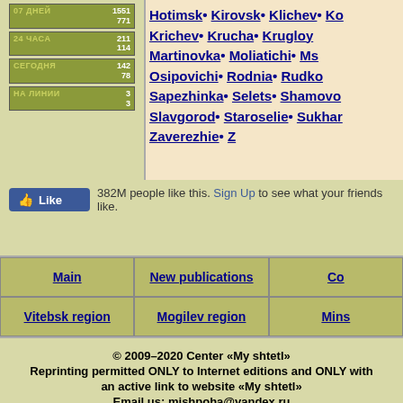| 07 ДНЕЙ | 1551
771 |
| 24 ЧАСА | 211
114 |
| СЕГОДНЯ | 142
78 |
| НА ЛИНИИ | 3
3 |
Hotimsk• Kirovsk• Klichev• Ko Krichev• Krucha• Krugloy Martinovka• Moliatichi• Ms Osipovichi• Rodnia• Rudko Sapezhinka• Selets• Shamovo Slavgorod• Staroselie• Sukhar Zaverezhie• Z
[Figure (screenshot): Facebook Like button showing 382M people like this, with Sign Up link]
382M people like this. Sign Up to see what your friends like.
Main | New publications | Co Vitebsk region | Mogilev region | Mins
© 2009–2020 Center «My shtetl»
Reprinting permitted ONLY to Internet editions and ONLY with an active link to website «My shtetl»
Email us: mishpoha@yandex.ru